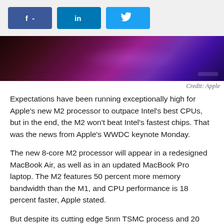f - | in | [twitter bird]
[Figure (photo): Dark purple and magenta toned hero image, abstract lighting background]
Credit: Apple
Expectations have been running exceptionally high for Apple's new M2 processor to outpace Intel's best CPUs, but in the end, the M2 won't beat Intel's fastest chips. That was the news from Apple's WWDC keynote Monday.
The new 8-core M2 processor will appear in a redesigned MacBook Air, as well as in an updated MacBook Pro laptop. The M2 features 50 percent more memory bandwidth than the M1, and CPU performance is 18 percent faster, Apple stated.
But despite its cutting edge 5nm TSMC process and 20 billion transistors, Apple actually said the new M2 is slower than Intel's best chips.
Obviously, Apple wasn't emphasising that narrative, and its